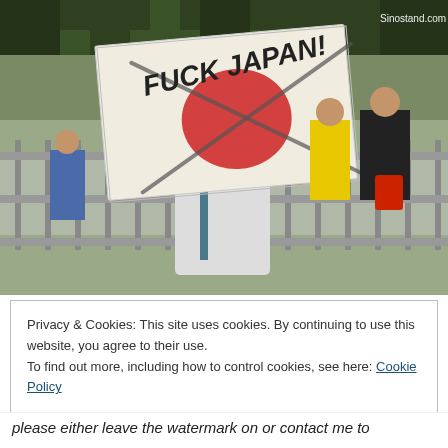[Figure (photo): A person holding up a handmade protest sign with a crossed-out Japanese flag design and text, at what appears to be an outdoor protest with fencing and crowd in background. Watermark reads Sinostand.com.]
Privacy & Cookies: This site uses cookies. By continuing to use this website, you agree to their use.
To find out more, including how to control cookies, see here: Cookie Policy
Close and accept
please either leave the watermark on or contact me to